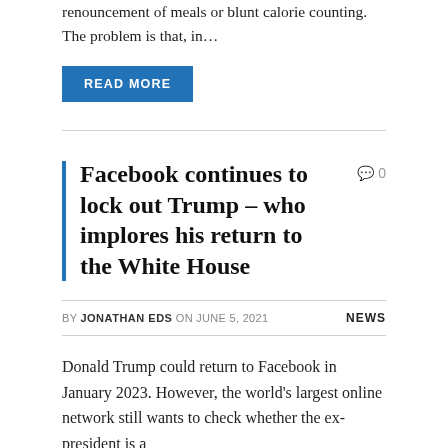renouncement of meals or blunt calorie counting. The problem is that, in...
READ MORE
Facebook continues to lock out Trump – who implores his return to the White House
BY JONATHAN EDS ON JUNE 5, 2021   NEWS
Donald Trump could return to Facebook in January 2023. However, the world's largest online network still wants to check whether the ex-president is a